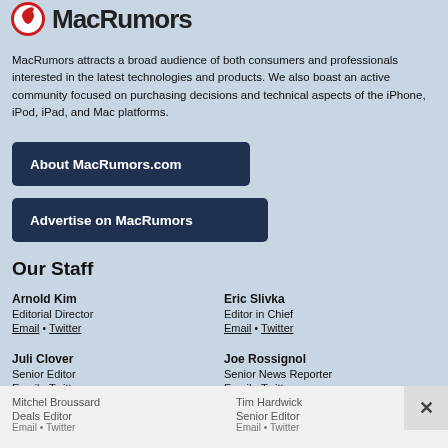MacRumors
MacRumors attracts a broad audience of both consumers and professionals interested in the latest technologies and products. We also boast an active community focused on purchasing decisions and technical aspects of the iPhone, iPod, iPad, and Mac platforms.
About MacRumors.com
Advertise on MacRumors
Our Staff
Arnold Kim
Editorial Director
Email • Twitter
Eric Slivka
Editor in Chief
Email • Twitter
Juli Clover
Senior Editor
Email • Twitter
Joe Rossignol
Senior News Reporter
Email • Twitter
Mitchel Broussard
Deals Editor
Tim Hardwick
Senior Editor